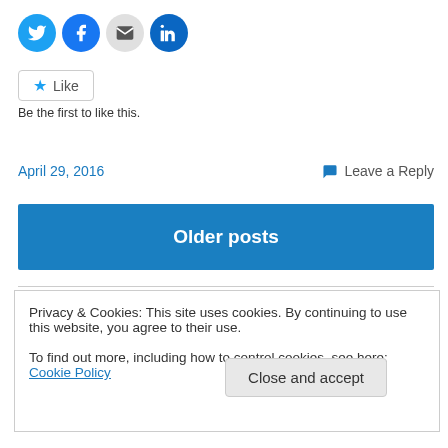[Figure (infographic): Social sharing icons: Twitter (blue bird), Facebook (blue f), Email (grey envelope), LinkedIn (dark blue in)]
Like
Be the first to like this.
April 29, 2016
Leave a Reply
Older posts
Privacy & Cookies: This site uses cookies. By continuing to use this website, you agree to their use.
To find out more, including how to control cookies, see here: Cookie Policy
Close and accept